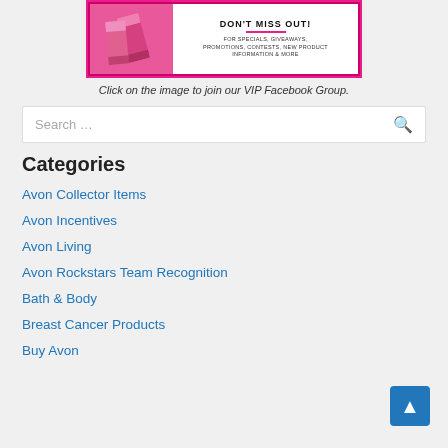[Figure (illustration): Promotional image with pink lipsticks on the left and white area on the right showing 'DON'T MISS OUT!' text with pink decorative line and smaller text 'FOR SPECIALS, GIVEAWAYS, PROMOTIONS, CONTESTS, NEW PRODUCT INFORMATION & MORE', surrounded by a pink border.]
Click on the image to join our VIP Facebook Group.
Search …
Categories
Avon Collector Items
Avon Incentives
Avon Living
Avon Rockstars Team Recognition
Bath & Body
Breast Cancer Products
Buy Avon